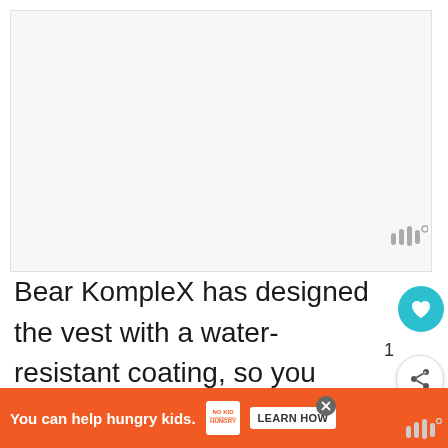[Figure (other): Large blank/light gray image placeholder area for a product photo]
Bear KompleX has designed the vest with a water-resistant coating, so you don't have to worry about sweating while wearing it, leav yo
[Figure (infographic): Advertisement banner: 'You can help hungry kids.' with No Kid Hungry logo and Learn How button on orange background]